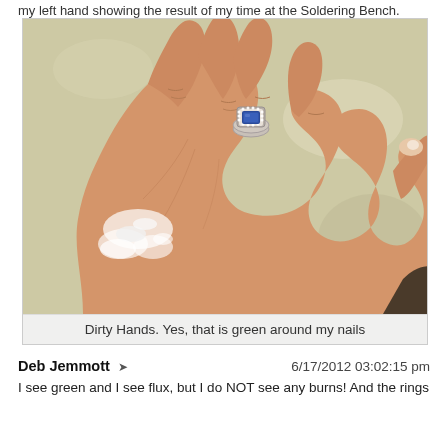my left hand showing the result of my time at the Soldering Bench.
[Figure (photo): A close-up photograph of a left hand resting on a light-colored surface. The hand wears a blue sapphire ring with a diamond halo setting on the ring finger. The back of the hand shows white flux residue. The nails appear to have green tinge. One fingernail has a small white mark.]
Dirty Hands. Yes, that is green around my nails
Deb Jemmott ➤	6/17/2012 03:02:15 pm
I see green and I see flux, but I do NOT see any burns! And the rings